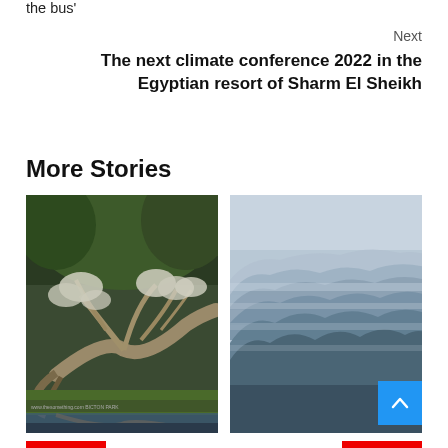the bus'
Next
The next climate conference 2022 in the Egyptian resort of Sharm El Sheikh
More Stories
[Figure (photo): A fallen tree with roots exposed lying on grass beside a reflective pond, surrounded by forest]
[Figure (photo): Misty mountain ranges layered in haze with blue and grey tones]